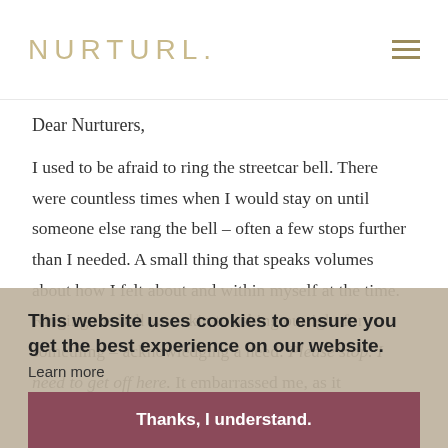NURTURL.
Dear Nurturers,
I used to be afraid to ring the streetcar bell. There were countless times when I would stay on until someone else rang the bell – often a few stops further than I needed. A small thing that speaks volumes about how I felt about and within myself at the time. Ringing the bell was akin to asking outright for something – acknowledging a need: Please stop. I need to get off here. It embarrassed me, as it announced my presence in a way that made me feel uncomfortable, self-conscious and exposed. At the time, I didn't have the staying power to be with
This website uses cookies to ensure you get the best experience on our website.
Learn more
Thanks, I understand.